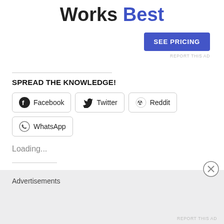Works Best
[Figure (other): SEE PRICING button (blue, uppercase)]
REPORT THIS AD
SPREAD THE KNOWLEDGE!
[Figure (other): Social share buttons: Facebook, Twitter, Reddit, WhatsApp]
Loading...
Advertisements